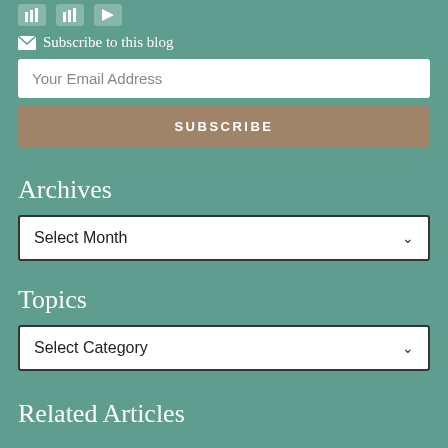[Figure (other): Social media icons (bar chart / graph style icons and a play icon) displayed at the top]
✉ Subscribe to this blog
Your Email Address
SUBSCRIBE
Archives
Select Month
Topics
Select Category
Related Articles